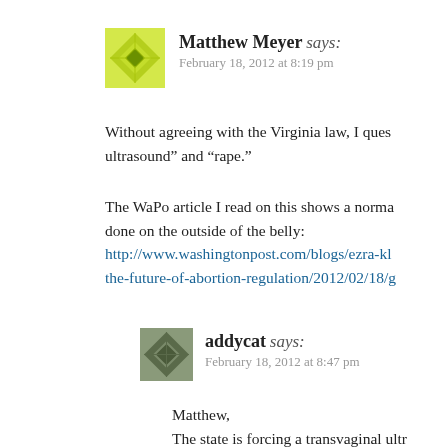Matthew Meyer says: February 18, 2012 at 8:19 pm
Without agreeing with the Virginia law, I ques... ultrasound” and “rape.”
The WaPo article I read on this shows a norma... done on the outside of the belly: http://www.washingtonpost.com/blogs/ezra-kl... the-future-of-abortion-regulation/2012/02/18/g
addycat says: February 18, 2012 at 8:47 pm
Matthew, The state is forcing a transvaginal ultr... the pregnancy is early enough along t... anything, regardless of whether the w...